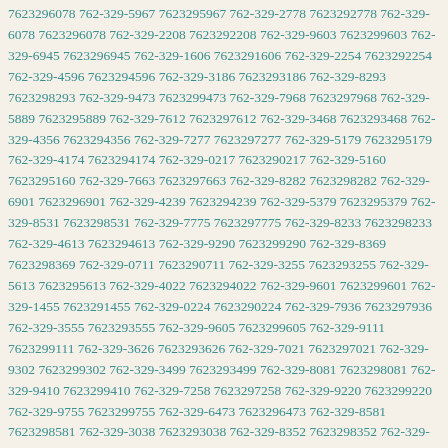7623296078 762-329-5967 7623295967 762-329-2778 7623292778 762-329-6078 7623296078 762-329-2208 7623292208 762-329-9603 7623299603 762-329-6945 7623296945 762-329-1606 7623291606 762-329-2254 7623292254 762-329-4596 7623294596 762-329-3186 7623293186 762-329-8293 7623298293 762-329-9473 7623299473 762-329-7968 7623297968 762-329-5889 7623295889 762-329-7612 7623297612 762-329-3468 7623293468 762-329-4356 7623294356 762-329-7277 7623297277 762-329-5179 7623295179 762-329-4174 7623294174 762-329-0217 7623290217 762-329-5160 7623295160 762-329-7663 7623297663 762-329-8282 7623298282 762-329-6901 7623296901 762-329-4239 7623294239 762-329-5379 7623295379 762-329-8531 7623298531 762-329-7775 7623297775 762-329-8233 7623298233 762-329-4613 7623294613 762-329-9290 7623299290 762-329-8369 7623298369 762-329-0711 7623290711 762-329-3255 7623293255 762-329-5613 7623295613 762-329-4022 7623294022 762-329-9601 7623299601 762-329-1455 7623291455 762-329-0224 7623290224 762-329-7936 7623297936 762-329-3555 7623293555 762-329-9605 7623299605 762-329-9111 7623299111 762-329-3626 7623293626 762-329-7021 7623297021 762-329-9302 7623299302 762-329-3499 7623293499 762-329-8081 7623298081 762-329-9410 7623299410 762-329-7258 7623297258 762-329-9220 7623299220 762-329-9755 7623299755 762-329-6473 7623296473 762-329-8581 7623298581 762-329-3038 7623293038 762-329-8352 7623298352 762-329-6330 7623296330 762-329-1450 7623291450 762-329-7971 7623297971 762-329-0006 7623290006 762-329-9327 7623299327 762-329-5432 7623295432 762-329-5018 7623295018 762-329-8617 7623298617 762-329-5960 7623295960 762-329-7815 7623297815 762-